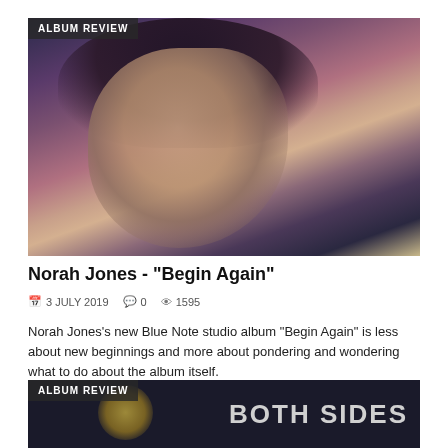ALBUM REVIEW
[Figure (photo): Portrait photo of Norah Jones resting her chin on her hands, dark hair, moody blue-purple toned background]
Norah Jones - "Begin Again"
3 JULY 2019   0   1595
Norah Jones's new Blue Note studio album "Begin Again" is less about new beginnings and more about pondering and wondering what to do about the album itself.
ALBUM REVIEW
BOTH SIDES